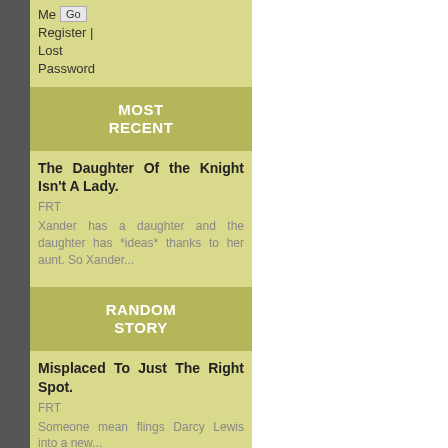Me Go
Register | Lost Password
MOST RECENT
The Daughter Of the Knight Isn't A Lady.
FRT
Xander has a daughter and the daughter has *ideas* thanks to her aunt. So Xander...
RANDOM STORY
Misplaced To Just The Right Spot.
FRT
Someone mean flings Darcy Lewis into a new...